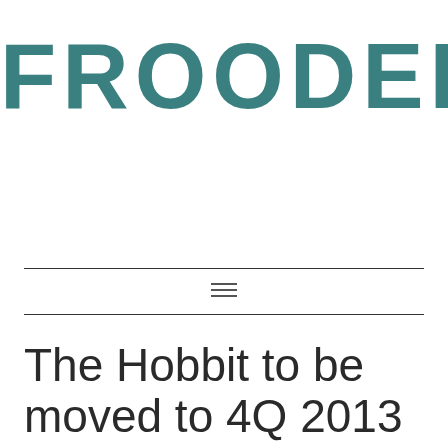[Figure (logo): FROODEE logo in large bold teal/dark cyan uppercase letters]
[Figure (other): Hamburger menu icon (three horizontal lines) between two horizontal rules]
The Hobbit to be moved to 4Q 2013